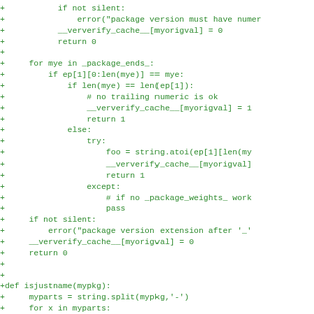[Figure (screenshot): Source code diff showing Python code additions (lines prefixed with '+') in green monospace font on white background. Code includes conditional logic for package version verification, a for loop over _package_ends_, try/except blocks, and a function definition isjustname(mypkg).]